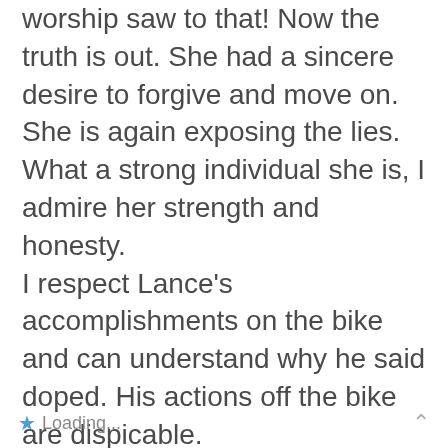worship saw to that! Now the truth is out. She had a sincere desire to forgive and move on. She is again exposing the lies. What a strong individual she is, I admire her strength and honesty.
I respect Lance's accomplishments on the bike and can understand why he said doped. His actions off the bike are dispicable.
Oh, to the folks that want to make it political. Armstrong sounds like a democrat! He is lying to meet his agenda!
Loading...